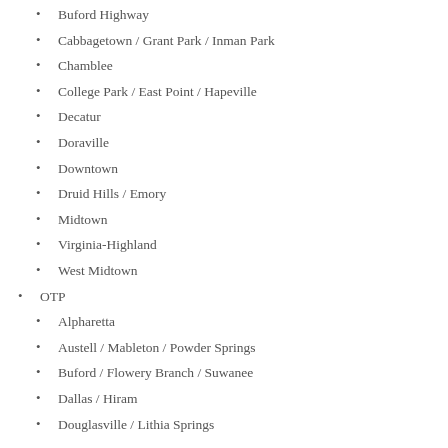Buford Highway
Cabbagetown / Grant Park / Inman Park
Chamblee
College Park / East Point / Hapeville
Decatur
Doraville
Downtown
Druid Hills / Emory
Midtown
Virginia-Highland
West Midtown
OTP
Alpharetta
Austell / Mableton / Powder Springs
Buford / Flowery Branch / Suwanee
Dallas / Hiram
Douglasville / Lithia Springs